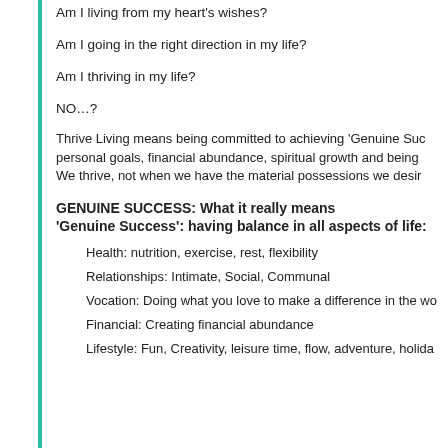Am I living from my heart's wishes?
Am I going in the right direction in my life?
Am I thriving in my life?
NO…?
Thrive Living means being committed to achieving 'Genuine Suc… personal goals, financial abundance, spiritual growth and being… We thrive, not when we have the material possessions we desir…
GENUINE SUCCESS: What it really means
'Genuine Success': having balance in all aspects of life:
Health: nutrition, exercise, rest, flexibility
Relationships: Intimate, Social, Communal
Vocation: Doing what you love to make a difference in the wo…
Financial: Creating financial abundance
Lifestyle: Fun, Creativity, leisure time, flow, adventure, holida…